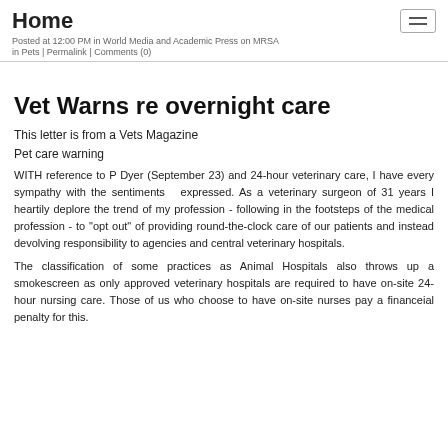Home
Posted at 12:00 PM in World Media and Academic Press on MRSA in Pets | Permalink | Comments (0)
Vet Warns re overnight care
This letter is from a Vets Magazine
Pet care warning
WITH reference to P Dyer (September 23) and 24-hour veterinary care, I have every sympathy with the sentiments   expressed. As a veterinary surgeon of 31 years I heartily deplore the trend of my profession - following in the footsteps of the medical profession - to "opt out" of providing round-the-clock care of our patients and instead devolving responsibility to agencies and central veterinary hospitals.
The classification of some practices as Animal Hospitals also throws up a smokescreen as only approved veterinary hospitals are required to have on-site 24-hour nursing care. Those of us who choose to have on-site nurses pay a financeial penalty for this.